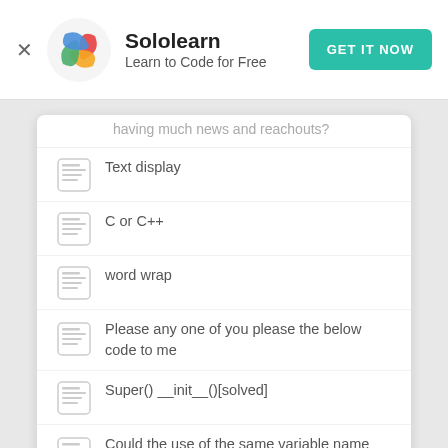Sololearn — Learn to Code for Free
having much news and reachouts?
Text display
C or C++
word wrap
Please any one of you please the below code to me
Super() __init__()[solved]
Could the use of the same variable name inside and outside the loop result in shadow variables ?
HELP WITH TABLE HTML !
How to link css here?